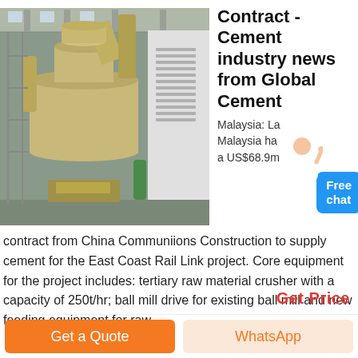[Figure (photo): Industrial cement mill machinery inside a factory building, showing large cylindrical grinding equipment with pipes and scaffolding.]
Contract - Cement industry news from Global Cement
Malaysia: Lafarge Malaysia has a US$68.9m contract from China Communiions Construction to supply cement for the East Coast Rail Link project. Core equipment for the project includes: tertiary raw material crusher with a capacity of 250t/hr; ball mill drive for existing ball mill and new feeding equipment for raw
Get Price
Get a Quote
WhatsApp